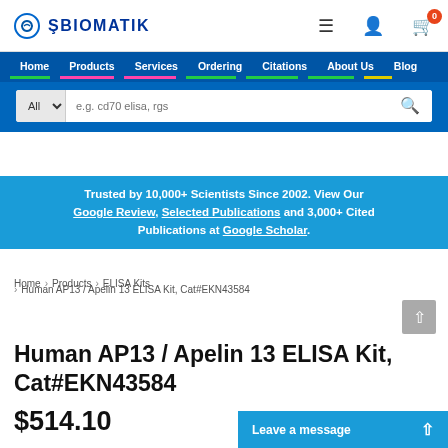BIOMATIK — Home | Products | Services | Ordering | Citations | About Us | Blog
All  e.g. cd70 elisa, rgs [search box]
Trusted by 10,000+ Scientists Since 2002. View Our Google Review, Selected Publications and 3,000+ Cited Publications at Google Scholar.
Home › Products › ELISA Kits › Human AP13 / Apelin 13 ELISA Kit, Cat#EKN43584
Human AP13 / Apelin 13 ELISA Kit, Cat#EKN43584
$514.10
Leave a message